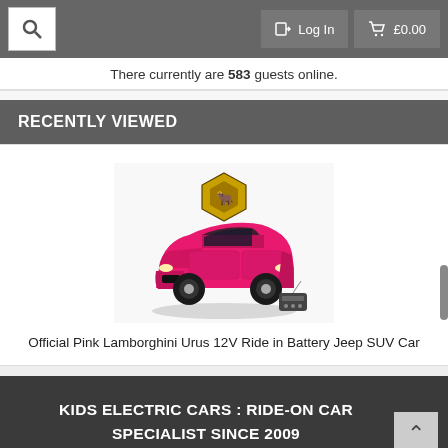Search | Log In | £0.00
There currently are 583 guests online.
RECENTLY VIEWED
[Figure (photo): Pink Lamborghini Urus 12V electric kids ride-on car with Lamborghini logo badge, shown in pink color with black trim]
Official Pink Lamborghini Urus 12V Ride in Battery Jeep SUV Car
KIDS ELECTRIC CARS : RIDE-ON CAR SPECIALIST SINCE 2009